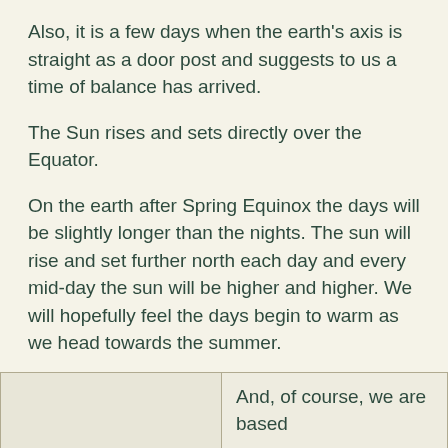Also, it is a few days when the earth's axis is straight as a door post and suggests to us a time of balance has arrived.
The Sun rises and sets directly over the Equator.
On the earth after Spring Equinox the days will be slightly longer than the nights. The sun will rise and set further north each day and every mid-day the sun will be higher and higher. We will hopefully feel the days begin to warm as we head towards the summer.
The Autumn Equinox sees the sun move further south, and each day the sun is lower in the sky. We feel it's heat and strength withdrawing as winter sets in.
Read more on the seasons at Celebrations.
|  | And, of course, we are based |